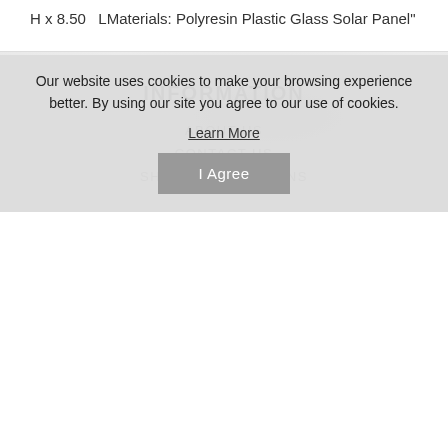H x 8.50   LMaterials: Polyresin Plastic Glass Solar Panel"
INFORMATION
ABOUT US
CONTACT US
SHIPPING & RETURNS
Our website uses cookies to make your browsing experience better. By using our site you agree to our use of cookies.
Learn More
I Agree